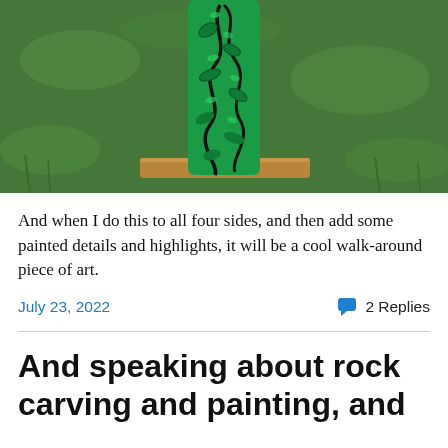[Figure (photo): A tall narrow painted rock or post with green and black decorative leaf/vine pattern, standing upright on wooden supports, placed on green grass.]
And when I do this to all four sides, and then add some painted details and highlights, it will be a cool walk-around piece of art.
July 23, 2022    💬 2 Replies
And speaking about rock carving and painting, and